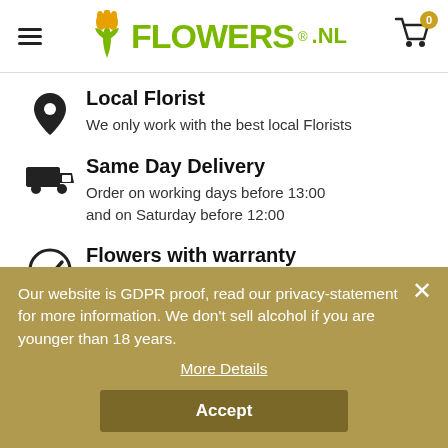[Figure (logo): Flowers.nl logo with tulip icon in green and yellow, and shopping cart icon with badge showing 0]
Local Florist
We only work with the best local Florists
Same Day Delivery
Order on working days before 13:00 and on Saturday before 12:00
Flowers with warranty
Our website is GDPR proof, read our privacy-statement for more information. We don't sell alcohol if you are younger than 18 years.
More Details
Accept